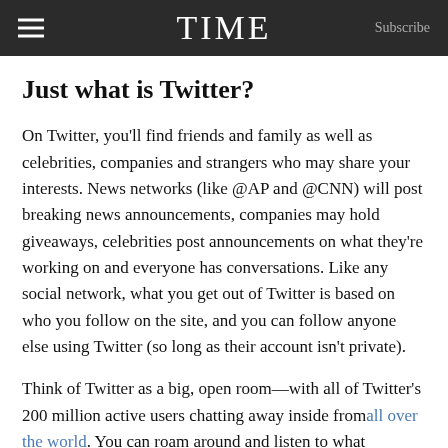TIME  Subscribe
Just what is Twitter?
On Twitter, you'll find friends and family as well as celebrities, companies and strangers who may share your interests. News networks (like @AP and @CNN) will post breaking news announcements, companies may hold giveaways, celebrities post announcements on what they're working on and everyone has conversations. Like any social network, what you get out of Twitter is based on who you follow on the site, and you can follow anyone else using Twitter (so long as their account isn't private).
Think of Twitter as a big, open room—with all of Twitter's 200 million active users chatting away inside from all over the world. You can roam around and listen to what everyone's talking about or just chat with a small group of your friends.